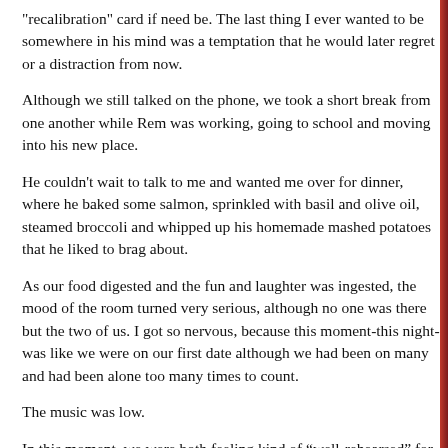“recalibration” card if need be. The last thing I ever wanted to be somewhere in his mind was a temptation that he would later regret or a distraction from now.
Although we still talked on the phone, we took a short break from one another while Rem was working, going to school and moving into his new place.
He couldn’t wait to talk to me and wanted me over for dinner, where he baked some salmon, sprinkled with basil and olive oil, steamed broccoli and whipped up his homemade mashed potatoes that he liked to brag about.
As our food digested and the fun and laughter was ingested, the mood of the room turned very serious, although no one was there but the two of us. I got so nervous, because this moment-this night-was like we were on our first date although we had been on many and had been alone too many times to count.
The music was low.
In this moment, we were both feeling kind of “well-rehearsed” for this night, however, feeling a bit stage fright I guess-mostly